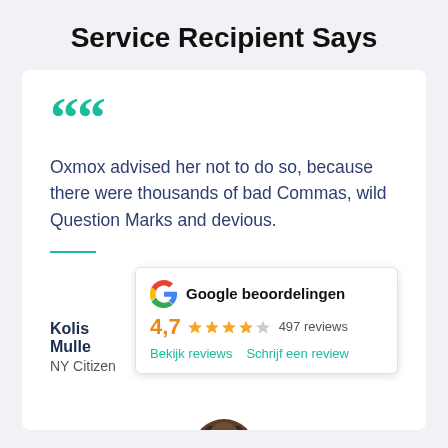Service Recipient Says
Oxmox advised her not to do so, because there were thousands of bad Commas, wild Question Marks and devious.
Kolis Mulle
NY Citizen
[Figure (infographic): Google beoordelingen widget showing rating 4,7 with 5 stars and 497 reviews, with links 'Bekijk reviews' and 'Schrijf een review']
[Figure (photo): Partial photo of a person with curly dark hair, visible at bottom of card]